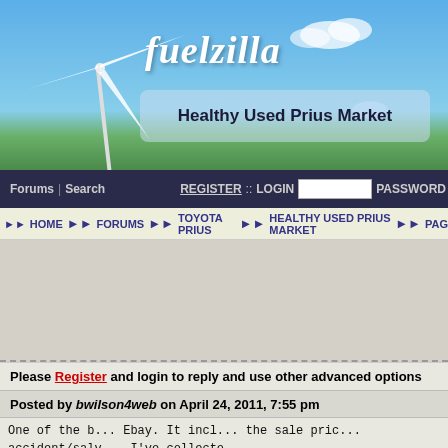[Figure (screenshot): Fuelzilla website banner with wind turbine illustration, blue sky and green landscape background]
fuelzilla
Healthy Used Prius Market
Forums | Search   REGISTER :: LOGIN [input] PASSWORD
HOME >> FORUMS >> TOYOTA PRIUS >> HEALTHY USED PRIUS MARKET >> PAG...
Please Register and login to reply and use other advanced options
Posted by bwilson4web on April 24, 2011, 7:55 pm
One of the b... Ebay. It incl... the sale pric... accident/salv... I've collecte...